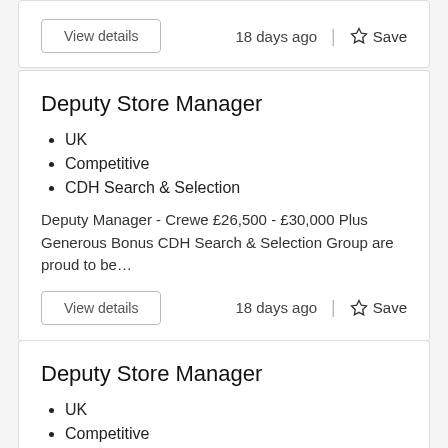View details
18 days ago  |  Save
Deputy Store Manager
UK
Competitive
CDH Search & Selection
Deputy Manager - Crewe £26,500 - £30,000 Plus Generous Bonus CDH Search & Selection Group are proud to be…
View details
18 days ago  |  Save
Deputy Store Manager
UK
Competitive